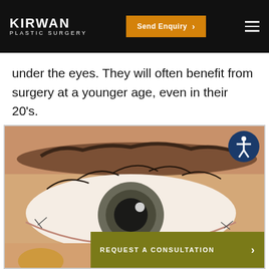KIRWAN PLASTIC SURGERY | Send Enquiry
under the eyes. They will often benefit from surgery at a younger age, even in their 20's.
[Figure (photo): Close-up photograph of a human eye with eyelashes and eyebrow, showing surgical markings/sutures at the corners. An accessibility icon (person in circle) is visible in the upper right of the image. A dark olive/yellow 'REQUEST A CONSULTATION >' button overlays the lower portion of the image.]